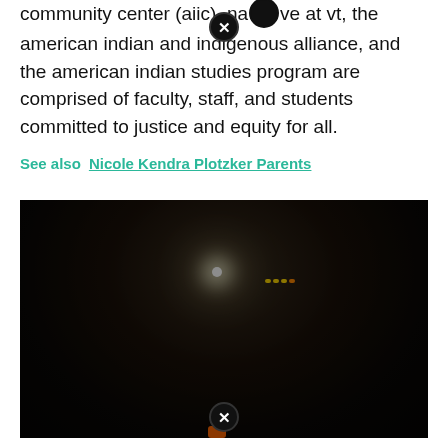community center (aiic), native at vt, the american indian and indigenous alliance, and the american indian studies program are comprised of faculty, staff, and students committed to justice and equity for all.
See also  Nicole Kendra Plotzker Parents
[Figure (photo): A large group of students posing together outdoors at night. The group appears to be a diverse student organization, photographed in front of a dark background with some light sources visible. Many are wearing hoodies and casual clothing in maroon, orange, blue, and dark colors. Some are standing, some crouching or sitting in the front.]